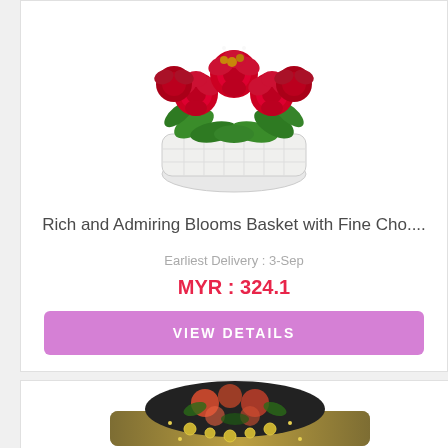[Figure (photo): A bouquet of red roses with white baby's breath flowers arranged in a white wicker basket, photographed from above-front angle.]
Rich and Admiring Blooms Basket with Fine Cho....
Earliest Delivery : 3-Sep
MYR : 324.1
VIEW DETAILS
[Figure (photo): A decorative gift item with floral patterned fabric and ornate jeweled decorations, partially visible at the bottom of the page.]